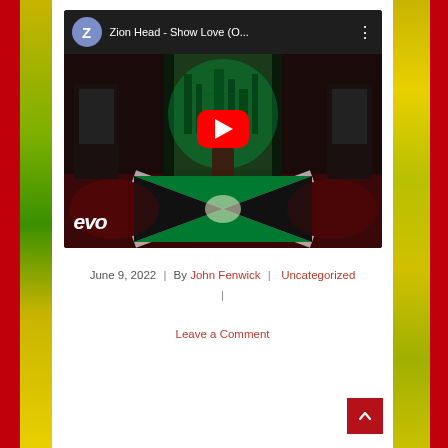[Figure (screenshot): YouTube video embed showing 'Zion Head - Show Love (O...' with a red play button overlay, Vevo branding at bottom left, and a dark scene of a performer behind a Jamaican flag-draped table with green-lit cityscape backdrop.]
June 9, 2022  |  By John Fenwick  |  Uncategorized  |
Leave a Comment